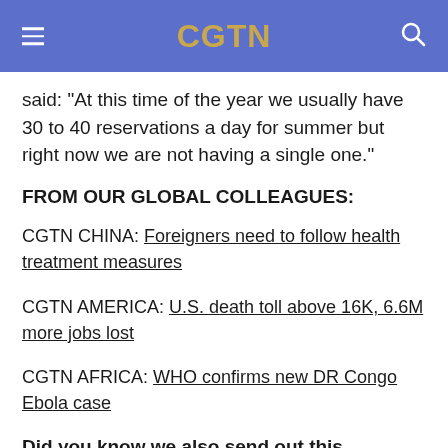CGTN
said: "At this time of the year we usually have 30 to 40 reservations a day for summer but right now we are not having a single one."
FROM OUR GLOBAL COLLEAGUES:
CGTN CHINA: Foreigners need to follow health treatment measures
CGTN AMERICA: U.S. death toll above 16K, 6.6M more jobs lost
CGTN AFRICA: WHO confirms new DR Congo Ebola case
Did you know we also send out this